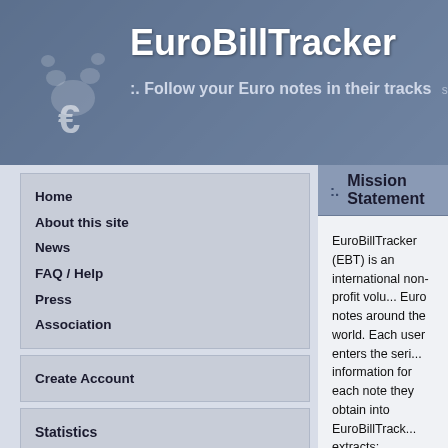EuroBillTracker :. Follow your Euro notes in their tracks since January 1st, 2002
Mission Statement
Home
About this site
News
FAQ / Help
Press
Association
Create Account
Statistics
Hits
Notes
Users
Diffusion
Rankings
Users
Cities
Countries
Links
Forum
EuroBillTracker (EBT) is an international non-profit volu... Euro notes around the world. Each user enters the seri... information for each note they obtain into EuroBillTrack... extracts:
Diffusion information: Each Euro country has its ow... from this information we can generate diffusion gra... to other countries. See the Diffusion section for mo...
Tracking information: When a note is re-entered, th... are notified via email. These hits can be seen in the...
Statistics and rankings: Who enters the most notes... Where are the notes currently situated?
Euro banknotes and coins were put into circulation on J... been tracking notes since then. The site was initially cre... Since mid-2003, the site has been run on a dedicated s... The site continues to be developed, since 2005 with the... (nerzhul). The webmasters are assisted by teams of ac... the forum, translate the site, provide email support and... without them we wouldn't be as great as we are now...